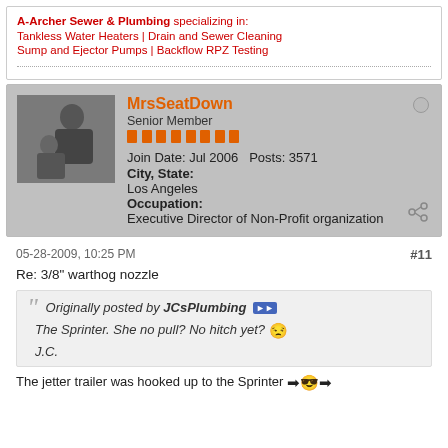A-Archer Sewer & Plumbing specializing in:
Tankless Water Heaters | Drain and Sewer Cleaning
Sump and Ejector Pumps | Backflow RPZ Testing
[Figure (photo): Avatar photo of MrsSeatDown showing a woman and child]
MrsSeatDown
Senior Member
Join Date: Jul 2006   Posts: 3571
City, State: Los Angeles
Occupation: Executive Director of Non-Profit organization
05-28-2009, 10:25 PM   #11
Re: 3/8" warthog nozzle
Originally posted by JCsPlumbing
The Sprinter. She no pull? No hitch yet?
J.C.
The jetter trailer was hooked up to the Sprinter